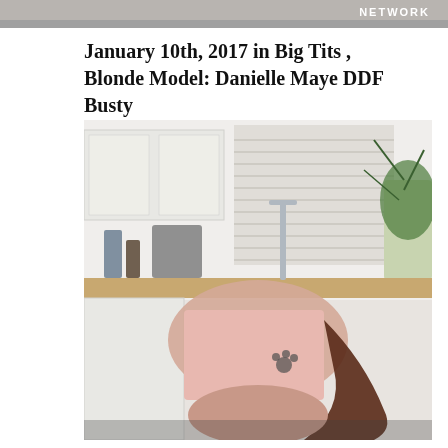[Figure (photo): Partial top image strip with NETWORK watermark text in upper right corner]
January 10th, 2017 in Big Tits , Blonde Model: Danielle Maye DDF Busty
[Figure (photo): Woman with long dark auburn hair bending forward in a kitchen setting, wearing a pink skirt, topless, with a paw print tattoo on her side. Kitchen background shows white cabinets, venetian blinds, a potted plant, and counter items.]